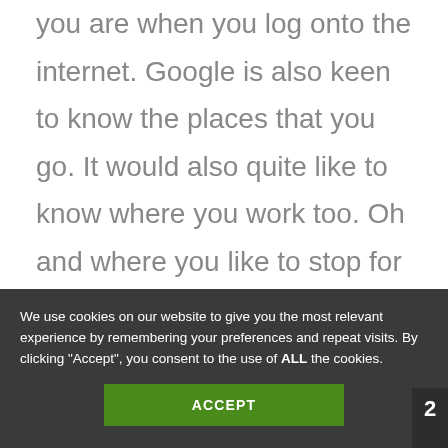you are when you log onto the internet. Google is also keen to know the places that you go. It would also quite like to know where you work too. Oh and where you like to stop for a sneaky pint on the way home. And it is getting this information.

'How is Google getting my location
We use cookies on our website to give you the most relevant experience by remembering your preferences and repeat visits. By clicking "Accept", you consent to the use of ALL the cookies.